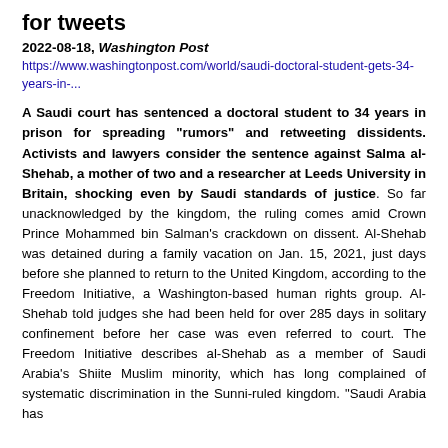for tweets
2022-08-18, Washington Post
https://www.washingtonpost.com/world/saudi-doctoral-student-gets-34-years-in-...
A Saudi court has sentenced a doctoral student to 34 years in prison for spreading "rumors" and retweeting dissidents. Activists and lawyers consider the sentence against Salma al-Shehab, a mother of two and a researcher at Leeds University in Britain, shocking even by Saudi standards of justice. So far unacknowledged by the kingdom, the ruling comes amid Crown Prince Mohammed bin Salman's crackdown on dissent. Al-Shehab was detained during a family vacation on Jan. 15, 2021, just days before she planned to return to the United Kingdom, according to the Freedom Initiative, a Washington-based human rights group. Al-Shehab told judges she had been held for over 285 days in solitary confinement before her case was even referred to court. The Freedom Initiative describes al-Shehab as a member of Saudi Arabia's Shiite Muslim minority, which has long complained of systematic discrimination in the Sunni-ruled kingdom. "Saudi Arabia has